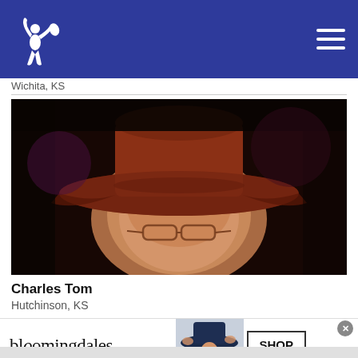Wichita, KS
[Figure (photo): Close-up photo of a person wearing a wide-brimmed brown/red cowboy hat and glasses, photographed in dark/dim lighting with warm tones on the face]
Charles Tom
Hutchinson, KS
[Figure (other): Bloomingdale's advertisement banner: 'bloomingdales / View Today's Top Deals!' with a model wearing a wide-brimmed hat, and a 'SHOP NOW >' button]